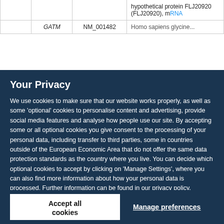|  |  |  | hypothetical protein FLJ20920 (FLJ20920), mRNA |
|  | GATM | NM_001482 | Homo sapiens glycine... |
Your Privacy
We use cookies to make sure that our website works properly, as well as some 'optional' cookies to personalise content and advertising, provide social media features and analyse how people use our site. By accepting some or all optional cookies you give consent to the processing of your personal data, including transfer to third parties, some in countries outside of the European Economic Area that do not offer the same data protection standards as the country where you live. You can decide which optional cookies to accept by clicking on 'Manage Settings', where you can also find more information about how your personal data is processed. Further information can be found in our privacy policy.
Accept all cookies
Manage preferences